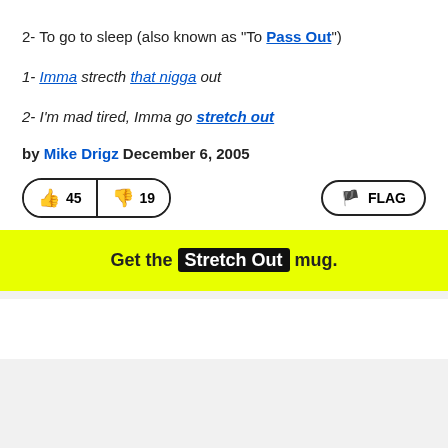2- To go to sleep (also known as "To Pass Out")
1- Imma strecth that nigga out
2- I'm mad tired, Imma go stretch out
by Mike Drigz December 6, 2005
[Figure (other): Vote buttons showing thumbs up 45, thumbs down 19, and FLAG button]
Get the Stretch Out mug.